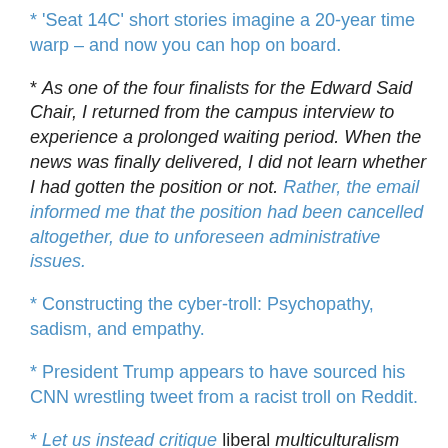* 'Seat 14C' short stories imagine a 20-year time warp – and now you can hop on board.
* As one of the four finalists for the Edward Said Chair, I returned from the campus interview to experience a prolonged waiting period. When the news was finally delivered, I did not learn whether I had gotten the position or not. Rather, the email informed me that the position had been cancelled altogether, due to unforeseen administrative issues.
* Constructing the cyber-troll: Psychopathy, sadism, and empathy.
* President Trump appears to have sourced his CNN wrestling tweet from a racist troll on Reddit.
* Let us instead critique liberal multiculturalism